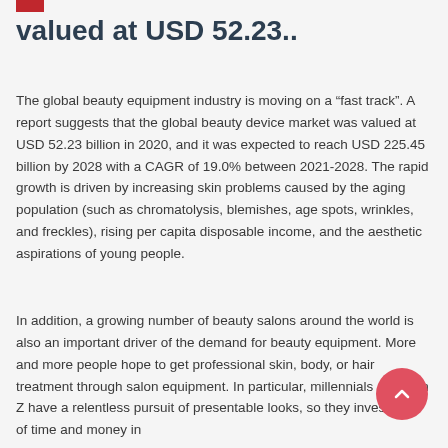valued at USD 52.23..
The global beauty equipment industry is moving on a “fast track”. A report suggests that the global beauty device market was valued at USD 52.23 billion in 2020, and it was expected to reach USD 225.45 billion by 2028 with a CAGR of 19.0% between 2021-2028. The rapid growth is driven by increasing skin problems caused by the aging population (such as chromatolysis, blemishes, age spots, wrinkles, and freckles), rising per capita disposable income, and the aesthetic aspirations of young people.
In addition, a growing number of beauty salons around the world is also an important driver of the demand for beauty equipment. More and more people hope to get professional skin, body, or hair treatment through salon equipment. In particular, millennials and Gen Z have a relentless pursuit of presentable looks, so they invest a lot of time and money in